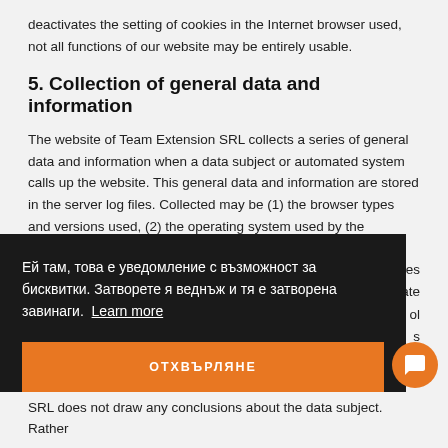deactivates the setting of cookies in the Internet browser used, not all functions of our website may be entirely usable.
5. Collection of general data and information
The website of Team Extension SRL collects a series of general data and information when a data subject or automated system calls up the website. This general data and information are stored in the server log files. Collected may be (1) the browser types and versions used, (2) the operating system used by the accessing ...aches ...ne date ...ol ...s ...ation
[Figure (screenshot): Cookie consent banner overlay in dark background with Bulgarian text: 'Ей там, това е уведомление с възможност за бисквитки. Затворете я веднъж и тя е затворена завинаги. Learn more' and an orange button labeled 'ОТХВЪРЛЯНЕ']
SRL does not draw any conclusions about the data subject. Rather